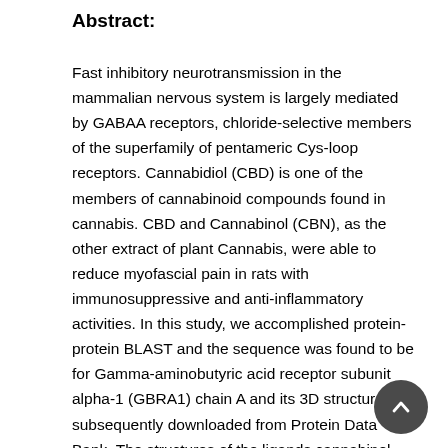Abstract:
Fast inhibitory neurotransmission in the mammalian nervous system is largely mediated by GABAA receptors, chloride-selective members of the superfamily of pentameric Cys-loop receptors. Cannabidiol (CBD) is one of the members of cannabinoid compounds found in cannabis. CBD and Cannabinol (CBN), as the other extract of plant Cannabis, were able to reduce myofascial pain in rats with immunosuppressive and anti-inflammatory activities. In this study, we accomplished protein-protein BLAST and the sequence was found to be for Gamma-aminobutyric acid receptor subunit alpha-1 (GBRA1) chain A and its 3D structure was subsequently downloaded from Protein Data Bank. The structures of the ligands cannabinol and cannabidiol were obtained from PubChem. After a